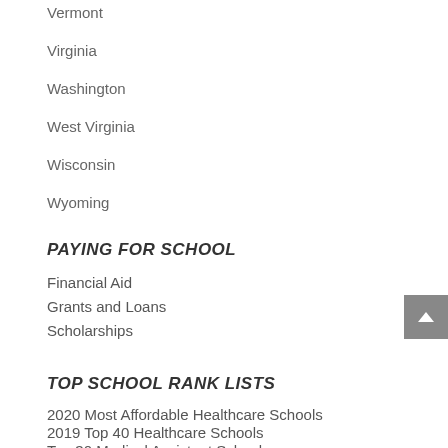Vermont
Virginia
Washington
West Virginia
Wisconsin
Wyoming
PAYING FOR SCHOOL
Financial Aid
Grants and Loans
Scholarships
TOP SCHOOL RANK LISTS
2020 Most Affordable Healthcare Schools
2019 Top 40 Healthcare Schools
Top 30 Medical Assistant Schools